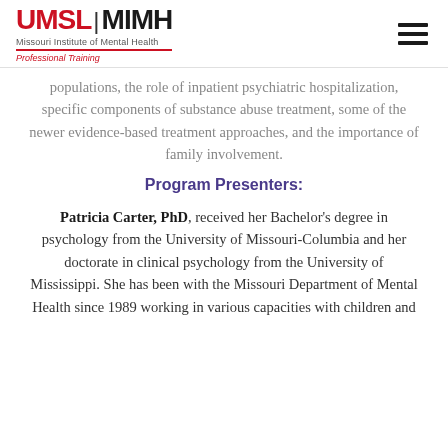UMSL | MIMH Missouri Institute of Mental Health Professional Training
populations, the role of inpatient psychiatric hospitalization, specific components of substance abuse treatment, some of the newer evidence-based treatment approaches, and the importance of family involvement.
Program Presenters:
Patricia Carter, PhD, received her Bachelor's degree in psychology from the University of Missouri-Columbia and her doctorate in clinical psychology from the University of Mississippi. She has been with the Missouri Department of Mental Health since 1989 working in various capacities with children and families, and has been involved in...